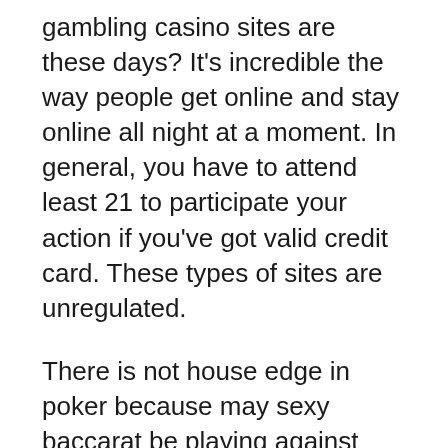gambling casino sites are these days? It's incredible the way people get online and stay online all night at a moment. In general, you have to attend least 21 to participate your action if you've got valid credit card. These types of sites are unregulated.
There is not house edge in poker because may sexy baccarat be playing against other people. For beginners, poker is thrilling. But for professional players, farmville is very lucrative.
Many that come on the casinos with profit at heart think winning in games of chance can be simple. Little will they realize that almost everything going on in any casino game is cool. Of course it is easy to possibly win, or